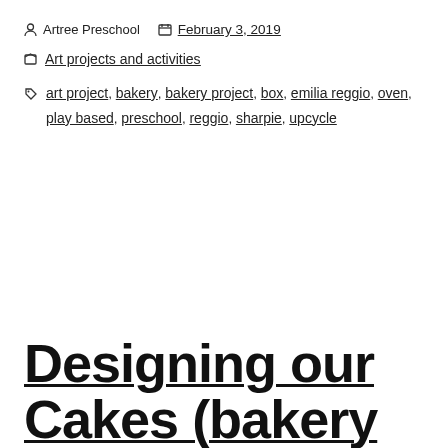Artree Preschool   February 3, 2019
Art projects and activities
art project, bakery, bakery project, box, emilia reggio, oven, play based, preschool, reggio, sharpie, upcycle
Designing our Cakes (bakery project 5)